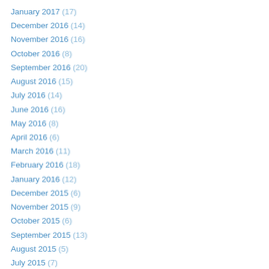January 2017 (17)
December 2016 (14)
November 2016 (16)
October 2016 (8)
September 2016 (20)
August 2016 (15)
July 2016 (14)
June 2016 (16)
May 2016 (8)
April 2016 (6)
March 2016 (11)
February 2016 (18)
January 2016 (12)
December 2015 (6)
November 2015 (9)
October 2015 (6)
September 2015 (13)
August 2015 (5)
July 2015 (7)
June 2015 (7)